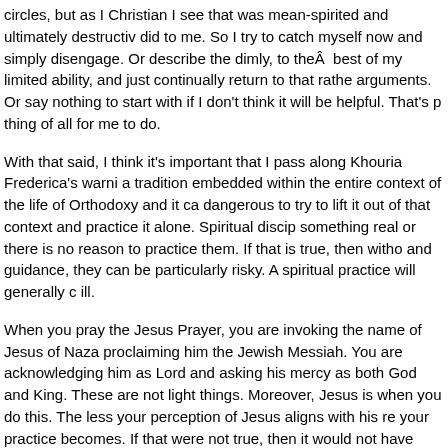circles, but as I Christian I see that was mean-spirited and ultimately destructive did to me. So I try to catch myself now and simply disengage. Or describe the dimly, to theÂ  best of my limited ability, and just continually return to that rather arguments. Or say nothing to start with if I don't think it will be helpful. That's p thing of all for me to do.
With that said, I think it's important that I pass along Khouria Frederica's warni a tradition embedded within the entire context of the life of Orthodoxy and it ca dangerous to try to lift it out of that context and practice it alone. Spiritual discip something real or there is no reason to practice them. If that is true, then witho and guidance, they can be particularly risky. A spiritual practice will generally c ill.
When you pray the Jesus Prayer, you are invoking the name of Jesus of Naza proclaiming him the Jewish Messiah. You are acknowledging him as Lord and asking his mercy as both God and King. These are not light things. Moreover, Jesus is when you do this. The less your perception of Jesus aligns with his re your practice becomes. If that were not true, then it would not have mattered th him to be a creature or that the Nestorians believed his divine nature had oblito nature. A spiritual discipline undertaken wrongly can engender pride, among m agree with her warning.